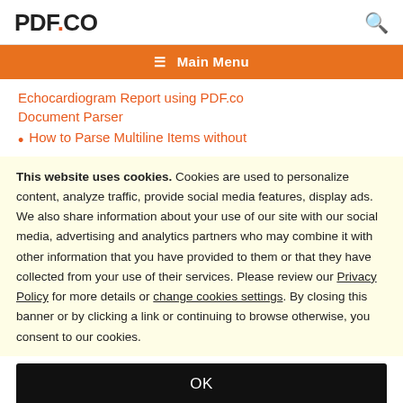PDF.CO
≡  Main Menu
Echocardiogram Report using PDF.co Document Parser
How to Parse Multiline Items without
This website uses cookies. Cookies are used to personalize content, analyze traffic, provide social media features, display ads. We also share information about your use of our site with our social media, advertising and analytics partners who may combine it with other information that you have provided to them or that they have collected from your use of their services. Please review our Privacy Policy for more details or change cookies settings. By closing this banner or by clicking a link or continuing to browse otherwise, you consent to our cookies.
OK